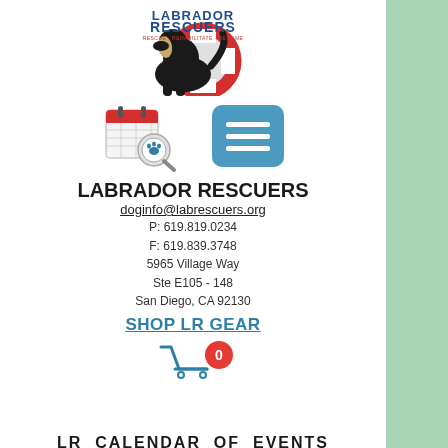[Figure (logo): Labrador Rescuers logo: black lab silhouette with life preserver ring, text reads LABRADOR RESCUERS, RESCUE REHABILITATE REHOME]
[Figure (illustration): Calendar icon with magnifying glass showing a paw print]
[Figure (illustration): Teal/blue hamburger menu button with three white horizontal lines]
LABRADOR RESCUERS
doginfo@labrescuers.org
P: 619.819.0234
F: 619.839.3748
5965 Village Way
Ste E105 - 148
San Diego, CA 92130
SHOP LR GEAR
[Figure (illustration): Shopping cart icon with red badge showing 0]
LR & CALENDAR OF EVENTS